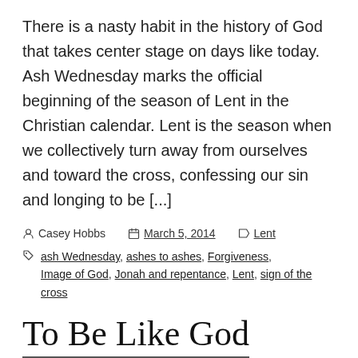There is a nasty habit in the history of God that takes center stage on days like today. Ash Wednesday marks the official beginning of the season of Lent in the Christian calendar. Lent is the season when we collectively turn away from ourselves and toward the cross, confessing our sin and longing to be [...]
Casey Hobbs   March 5, 2014   Lent
ash Wednesday, ashes to ashes, Forgiveness, Image of God, Jonah and repentance, Lent, sign of the cross
To Be Like God